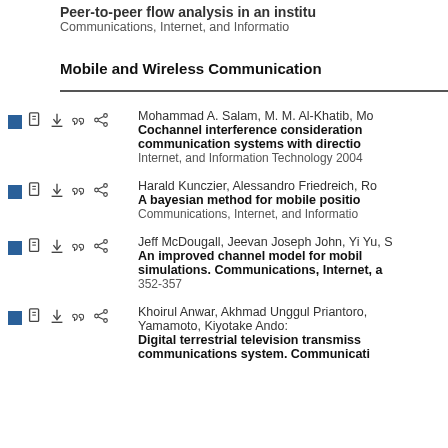Peer-to-peer flow analysis in an institu... Communications, Internet, and Informatio...
Mobile and Wireless Communication
Mohammad A. Salam, M. M. Al-Khatib, Mo... Cochannel interference consideration... communication systems with directio... Internet, and Information Technology 2004
Harald Kunczier, Alessandro Friedreich, Ro... A bayesian method for mobile positio... Communications, Internet, and Informatio...
Jeff McDougall, Jeevan Joseph John, Yi Yu, S... An improved channel model for mobil... simulations. Communications, Internet, a... 352-357
Khoirul Anwar, Akhmad Unggul Priantoro, Yamamoto, Kiyotake Ando: Digital terrestrial television transmiss... communications system. Communicati...